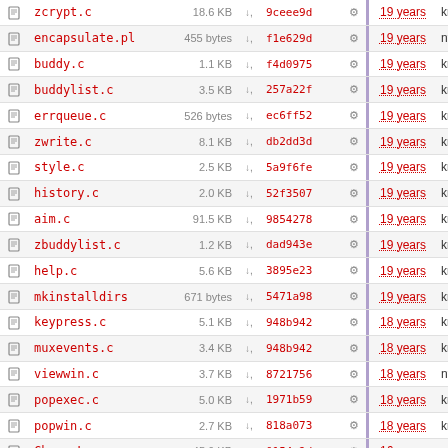|  | Name | Size |  | Hash |  | Age | Author | Message |
| --- | --- | --- | --- | --- | --- | --- | --- | --- |
|  | zcrypt.c | 18.6 KB | ↓ | 9ceee9d | ⚙ | 19 years | kretch | There is n |
|  | encapsulate.pl | 455 bytes | ↓ | f1e629d | ⚙ | 19 years | nygren | New API |
|  | buddy.c | 1.1 KB | ↓ | f4d0975 | ⚙ | 19 years | kretch | Fixed bug |
|  | buddylist.c | 3.5 KB | ↓ | 257a22f | ⚙ | 19 years | kretch | Formattin |
|  | errqueue.c | 526 bytes | ↓ | ec6ff52 | ⚙ | 19 years | kretch | Added the |
|  | zwrite.c | 8.1 KB | ↓ | db2dd3d | ⚙ | 19 years | kretch | Display C |
|  | style.c | 2.5 KB | ↓ | 5a9f6fe | ⚙ | 19 years | kretch | Command |
|  | history.c | 2.0 KB | ↓ | 52f3507 | ⚙ | 19 years | kretch | Changed |
|  | aim.c | 91.5 KB | ↓ | 9854278 | ⚙ | 19 years | kretch | First pass |
|  | zbuddylist.c | 1.2 KB | ↓ | dad943e | ⚙ | 19 years | kretch | added zb |
|  | help.c | 5.6 KB | ↓ | 3895e23 | ⚙ | 19 years | kretch | The '!' key |
|  | mkinstalldirs | 671 bytes | ↓ | 5471a98 | ⚙ | 19 years | kretch | Added mk |
|  | keypress.c | 5.1 KB | ↓ | 948b942 | ⚙ | 18 years | kretch | Print C-\ |
|  | muxevents.c | 3.4 KB | ↓ | 948b942 | ⚙ | 18 years | kretch | Print C-\ |
|  | viewwin.c | 3.7 KB | ↓ | 8721756 | ⚙ | 18 years | nygren | oops. ma |
|  | popexec.c | 5.0 KB | ↓ | 1971b59 | ⚙ | 18 years | kretch | Consistifie |
|  | popwin.c | 2.7 KB | ↓ | 818a073 | ⚙ | 18 years | kretch | Tweaked |
|  | ChangeLog | 45.9 KB | ↓ | 0154e2d | ⚙ | 16 years | nygren | Don't cras |
|  | dict.c | 5.5 KB | ↓ | 0138478 | ⚙ | 16 years | nelhage | Test failu |